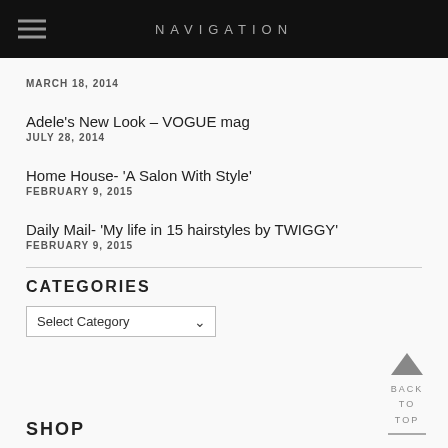NAVIGATION
MARCH 18, 2014
Adele's New Look – VOGUE mag
JULY 28, 2014
Home House- 'A Salon With Style'
FEBRUARY 9, 2015
Daily Mail- 'My life in 15 hairstyles by TWIGGY'
FEBRUARY 9, 2015
CATEGORIES
Select Category
BACK TO TOP
SHOP